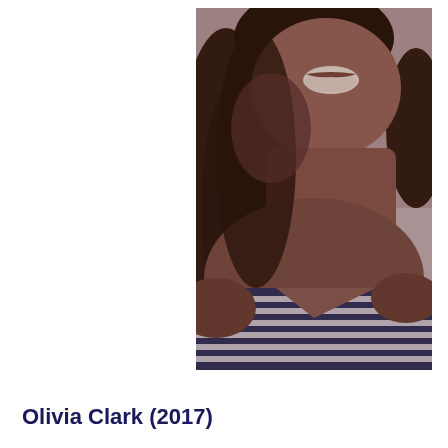[Figure (photo): Close-up photograph of a woman smiling, with long dark hair, wearing a navy and white striped v-neck top. The photo is cropped to show mainly the lower face, hair, neck, and upper chest area. Warm, dim lighting.]
Olivia Clark (2017)